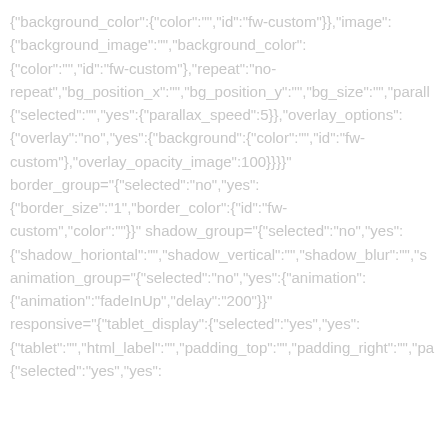{"background_color":{"color":"","id":"fw-custom"}},"image": {"background_image":"","background_color": {"color":"","id":"fw-custom"},"repeat":"no-repeat","bg_position_x":"","bg_position_y":"","bg_size":"","parallax": {"selected":"","yes":{"parallax_speed":5}},"overlay_options": {"overlay":"no","yes":{"background":{"color":"","id":"fw-custom"},"overlay_opacity_image":100}}}}" border_group="{"selected":"no","yes": {"border_size":"1","border_color":{"id":"fw-custom","color":""}}}" shadow_group="{"selected":"no","yes": {"shadow_horiontal":"","shadow_vertical":"","shadow_blur":"","s animation_group="{"selected":"no","yes":{"animation": {"animation":"fadeInUp","delay":"200"}}}" responsive="{"tablet_display":{"selected":"yes","yes": {"tablet":"","html_label":"","padding_top":"","padding_right":"","pa {"selected":"yes","yes":